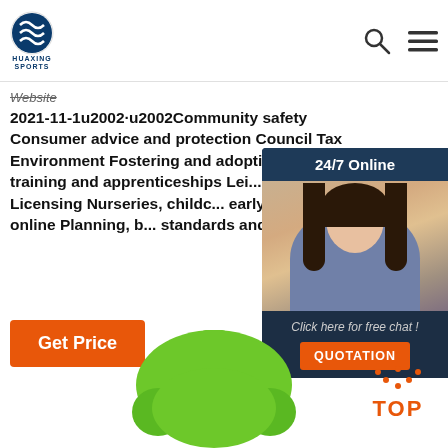HUAXING SPORTS — website header with logo, search icon, and menu icon
Website
2021-11-1u2002·u2002Community safety Consumer advice and protection Council Tax Environment Fostering and adoption H... Jobs, training and apprenticeships Lei... and tourism Licensing Nurseries, childco... early learning Pay it online Planning, b... standards and regeneration
[Figure (other): Get Price orange button]
[Figure (other): 24/7 Online live chat widget with female customer service representative photo, 'Click here for free chat!' text, and orange QUOTATION button]
[Figure (other): Green toy/object partially visible at bottom center of page]
[Figure (other): Orange TOP button with dotted arc above it in bottom right corner]